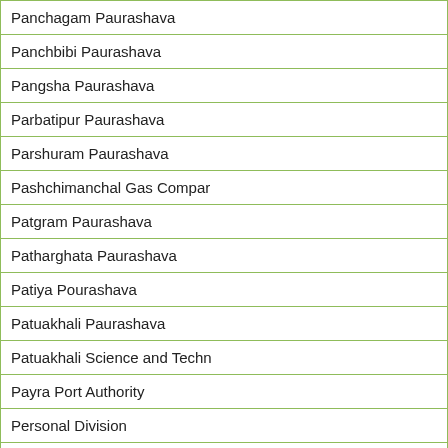| Panchagam Paurashava |
| Panchbibi Paurashava |
| Pangsha Paurashava |
| Parbatipur Paurashava |
| Parshuram Paurashava |
| Pashchimanchal Gas Compan… |
| Patgram Paurashava |
| Patharghata Paurashava |
| Patiya Pourashava |
| Patuakhali Paurashava |
| Patuakhali Science and Techn… |
| Payra Port Authority |
| Personal Division |
| Phulbari Paurashava, Dinajpu… |
| Phulpur Paurashava |
| Pirganj Paurashava, Rangpur |
| Pirganj Paurashava,Thakurga… |
| Pirojpur Paurashava |
| Pirujpur Dist… |